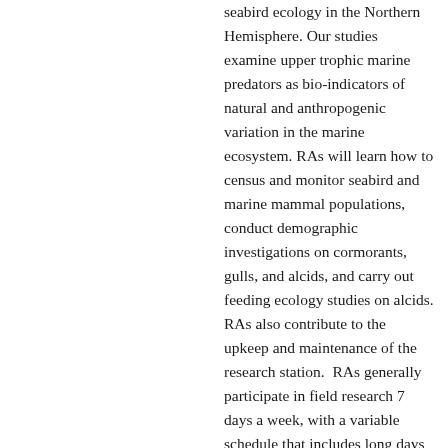seabird ecology in the Northern Hemisphere. Our studies examine upper trophic marine predators as bio-indicators of natural and anthropogenic variation in the marine ecosystem. RAs will learn how to census and monitor seabird and marine mammal populations, conduct demographic investigations on cormorants, gulls, and alcids, and carry out feeding ecology studies on alcids. RAs also contribute to the upkeep and maintenance of the research station.  RAs generally participate in field research 7 days a week, with a variable schedule that includes long days and night work. Long term RAs will receive some break time off the island and/or occasional days off on the island. Some field work requires rigorous physical activity including